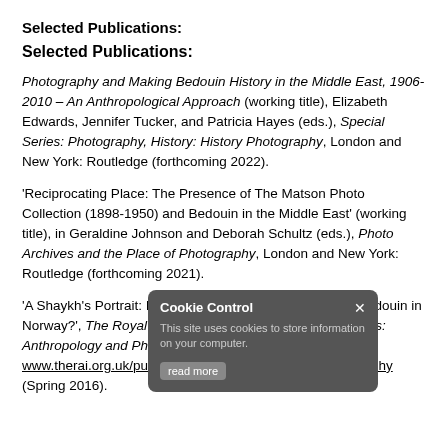Selected Publications:
Selected Publications:
Photography and Making Bedouin History in the Middle East, 1906-2010 – An Anthropological Approach (working title), Elizabeth Edwards, Jennifer Tucker, and Patricia Hayes (eds.), Special Series: Photography, History: History Photography, London and New York: Routledge (forthcoming 2022).
'Reciprocating Place: The Presence of The Matson Photo Collection (1898-1950) and Bedouin in the Middle East' (working title), in Geraldine Johnson and Deborah Schultz (eds.), Photo Archives and the Place of Photography, London and New York: Routledge (forthcoming 2021).
'A Shaykh's Portrait: Images and Tribal History amongst Bedouin in Norway?', The Royal Anthropology Institute – Special Series: Anthropology and Photography, www.therai.org.uk/publications/anthropology-and-photography (Spring 2016).